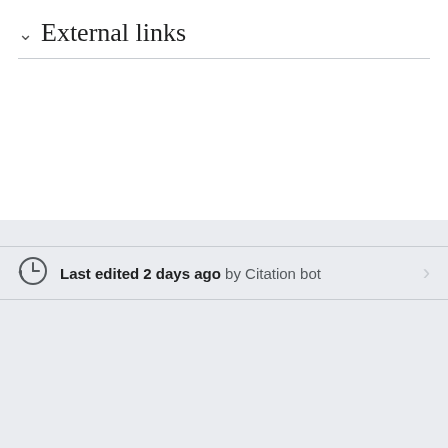External links
Last edited 2 days ago by Citation bot